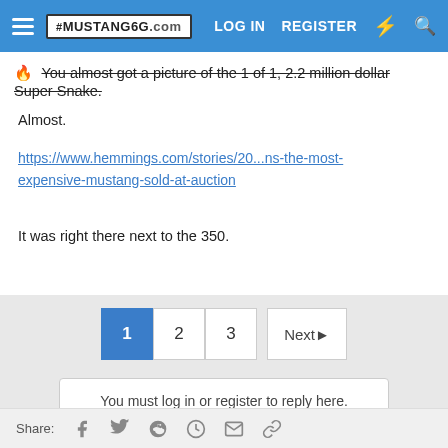Mustang6G.com — LOG IN  REGISTER
🔥 You almost got a picture of the 1 of 1, 2.2 million dollar Super Snake.
Almost.
https://www.hemmings.com/stories/20...ns-the-most-expensive-mustang-sold-at-auction
It was right there next to the 350.
1  2  3  Next▶
You must log in or register to reply here.
Share: